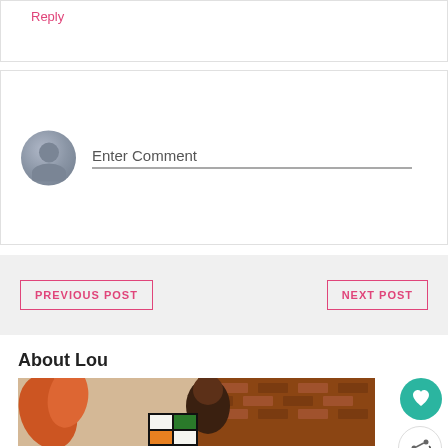Reply
Enter Comment
PREVIOUS POST
NEXT POST
About Lou
[Figure (photo): Photo of a woman sitting in front of a brick wall and orange leaf mural, with colorful geometric artwork panels visible]